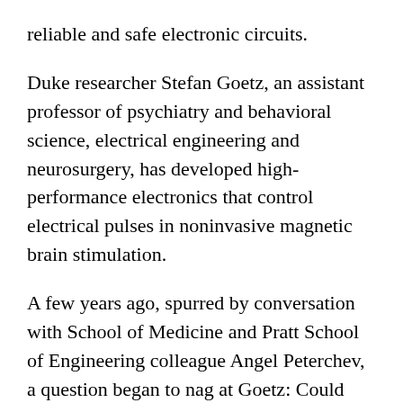reliable and safe electronic circuits.
Duke researcher Stefan Goetz, an assistant professor of psychiatry and behavioral science, electrical engineering and neurosurgery, has developed high-performance electronics that control electrical pulses in noninvasive magnetic brain stimulation.
A few years ago, spurred by conversation with School of Medicine and Pratt School of Engineering colleague Angel Peterchev, a question began to nag at Goetz: Could this same technology solve the battery woes of electric vehicles?
Today's EVs have large battery packs -- the